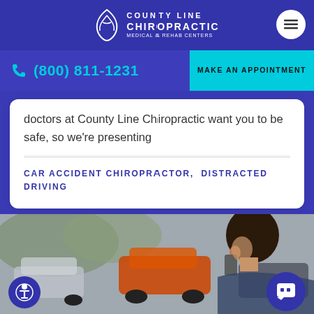[Figure (logo): County Line Chiropractic Medical & Rehab Centers logo with leaf/feather icon on dark blue navigation bar]
(800) 811-1231
MAKE AN APPOINTMENT
doctors at County Line Chiropractic want you to be safe, so we're presenting
CAR ACCIDENT CHIROPRACTOR,  DISTRACTED DRIVING
[Figure (photo): Person talking on a cell phone with cars in the background, blurred background showing a car accident scene]